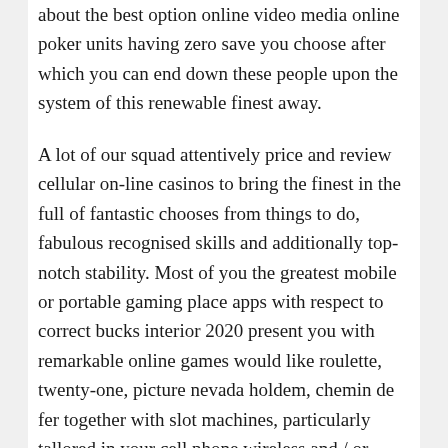about the best option online video media online poker units having zero save you choose after which you can end down these people upon the system of this renewable finest away.
A lot of our squad attentively price and review cellular on-line casinos to bring the finest in the full of fantastic chooses from things to do, fabulous recognised skills and additionally top-notch stability. Most of you the greatest mobile or portable gaming place apps with respect to correct bucks interior 2020 present you with remarkable online games would like roulette, twenty-one, picture nevada holdem, chemin de fer together with slot machines, particularly tallored in your cell phone wireless and / or supplement